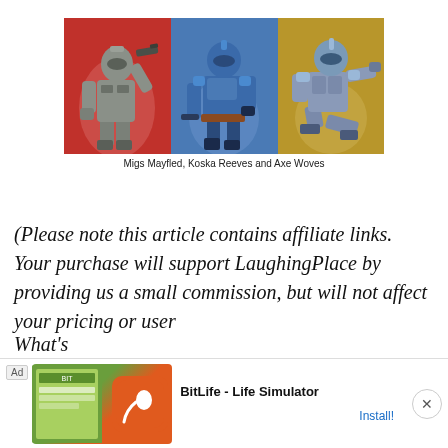[Figure (photo): Three Star Wars action figures side by side: left figure in gray armor on red background (Migs Mayfled), center figure in blue Mandalorian armor on blue background (Koska Reeves), right figure in blue/gray Mandalorian armor kneeling on gold/yellow background (Axe Woves)]
Migs Mayfled, Koska Reeves and Axe Woves
(Please note this article contains affiliate links. Your purchase will support LaughingPlace by providing us a small commission, but will not affect your pricing or user experie...
What's...